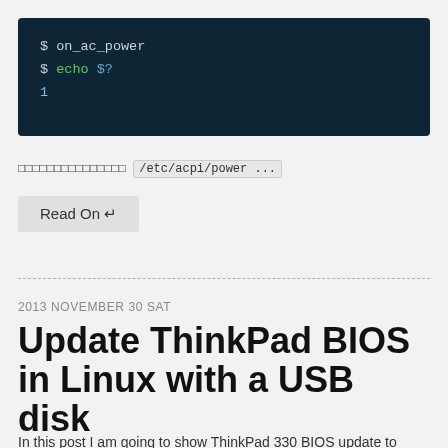[Figure (screenshot): Terminal screenshot showing commands: $ on_ac_power, $ echo $?, 1]
□□□□□□□□□□□□□□□ /etc/acpi/power ...
Read On ↵
2013 NOVEMBER 30 SAT
Update ThinkPad BIOS in Linux with a USB disk
In this post I am going to show ThinkPad 330 BIOS update to...